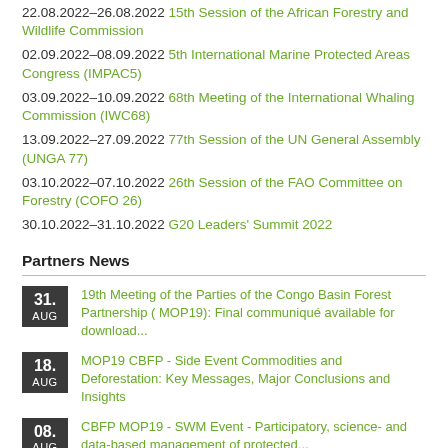22.08.2022–26.08.2022 15th Session of the African Forestry and Wildlife Commission
02.09.2022–08.09.2022 5th International Marine Protected Areas Congress (IMPAC5)
03.09.2022–10.09.2022 68th Meeting of the International Whaling Commission (IWC68)
13.09.2022–27.09.2022 77th Session of the UN General Assembly (UNGA 77)
03.10.2022–07.10.2022 26th Session of the FAO Committee on Forestry (COFO 26)
30.10.2022–31.10.2022 G20 Leaders' Summit 2022
Partners News
31. AUG — 19th Meeting of the Parties of the Congo Basin Forest Partnership ( MOP19): Final communiqué available for download...
18. AUG — MOP19 CBFP - Side Event Commodities and Deforestation: Key Messages, Major Conclusions and Insights
08. AUG — CBFP MOP19 - SWM Event - Participatory, science- and data-based management of protected...